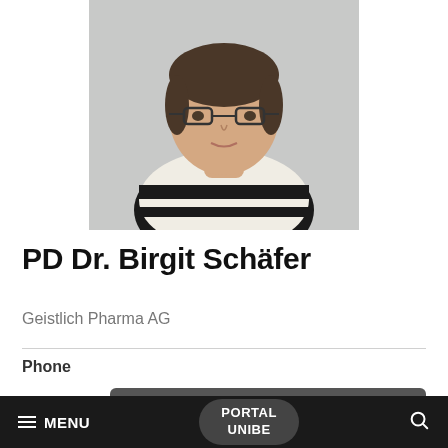[Figure (photo): Headshot photo of PD Dr. Birgit Schäfer, a woman wearing glasses and a black and white striped sweater, against a light grey background.]
PD Dr. Birgit Schäfer
Geistlich Pharma AG
Phone
+41 41 4925 556
≡ MENU   PORTAL UNIBE   🔍